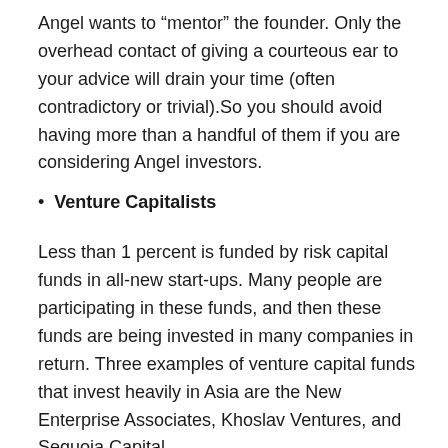Angel wants to “mentor” the founder. Only the overhead contact of giving a courteous ear to your advice will drain your time (often contradictory or trivial).So you should avoid having more than a handful of them if you are considering Angel investors.
Venture Capitalists
Less than 1 percent is funded by risk capital funds in all-new start-ups. Many people are participating in these funds, and then these funds are being invested in many companies in return. Three examples of venture capital funds that invest heavily in Asia are the New Enterprise Associates, Khoslav Ventures, and Sequoia Capital.
Like angel investors, risk capital funds may provide advice and mentoring and require some business control.